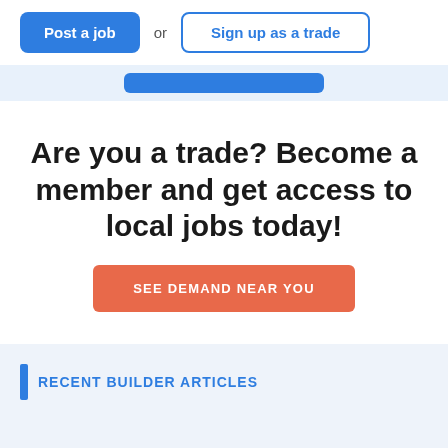[Figure (screenshot): Navigation bar with 'Post a job' blue button, 'or' text, and 'Sign up as a trade' outlined blue button]
[Figure (screenshot): Light blue banner strip with a blue rounded rectangle pill element]
Are you a trade? Become a member and get access to local jobs today!
[Figure (screenshot): Orange-red button labeled 'SEE DEMAND NEAR YOU']
RECENT BUILDER ARTICLES